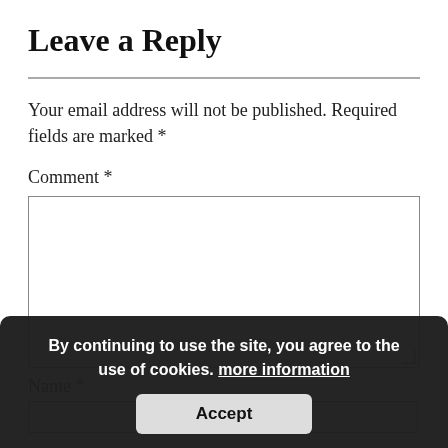Leave a Reply
Your email address will not be published. Required fields are marked *
Comment *
Name *
By continuing to use the site, you agree to the use of cookies. more information
Accept